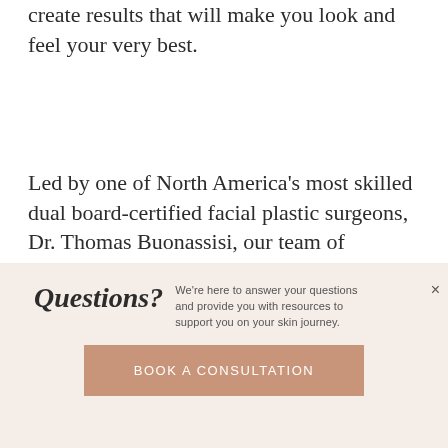create results that will make you look and feel your very best.
Led by one of North America's most skilled dual board-certified facial plastic surgeons, Dr. Thomas Buonassisi, our team of industry-leading medical aestheticians use the most advanced techniques, training, and technology to offer a 360° full spectrum of anti-aging and beauty-enhancing treatments, with customized plans designed for each
Questions? We're here to answer your questions and provide you with resources to support you on your skin journey.
BOOK A CONSULTATION